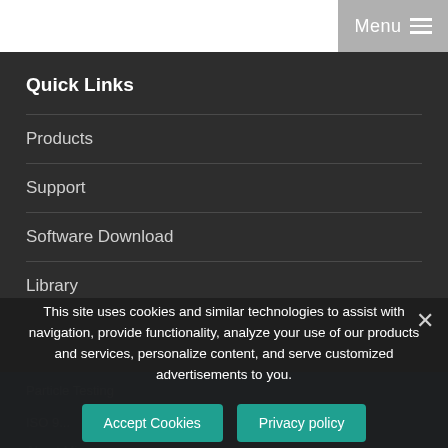Menu
Quick Links
Products
Support
Software Download
Library
Particle Testing
ISO 9...
About Micron...
This site uses cookies and similar technologies to assist with navigation, provide functionality, analyze your use of our products and services, personalize content, and serve customized advertisements to you.